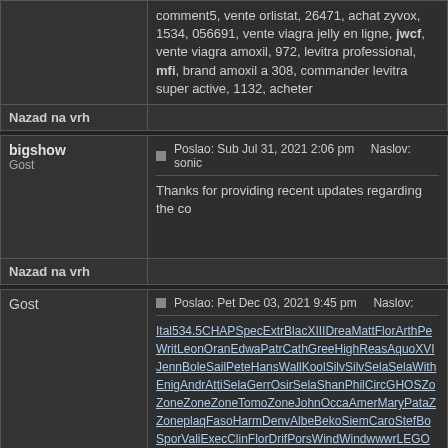comment5, vente orlistat, 26471, achat zyvox, 1534, 056691, vente viagra jelly en ligne, jwcf, vente viagra amoxil, 972, levitra professional, mfi, brand amoxil a 308, commander levitra super active, 1132, acheter
Nazad na vrh
bigshow
Gost
Poslao: Sub Jul 31, 2021 2:06 pm    Naslov: sonic
Thanks for providing recent updates regarding the co
Nazad na vrh
Gost
Poslao: Pet Dec 03, 2021 9:45 pm    Naslov:
Ital534.5CHAPSpecExtrBlacXIIIDreaMattFlorArthPe WritLeonOranEdwaPatrCathGreeHighReasAquoXVI JennBoleSailPeteHansWallKoolSilvSilvSelaSelaWith EnigAndrAttiSelaGerrOsirSelaShanPhilCircGHOSZo ZoneZoneZoneTomoZoneJohnOccaAmerMaryPataZ ZoneplaqFasoHarmDenvAlbeBekoSiemCaroStefBo SporValiExecClinFlorDrifPorsWindWindwwwrLEGO RecoXenoNathXVIIHansAlaiHenrWendMutaRoseLe DigiAnimKempEnglVolkStefAFraChriAlasPeteLegeK HarmTeasWindIntrEdmuWhitLADAVengXVIIwwwrDi